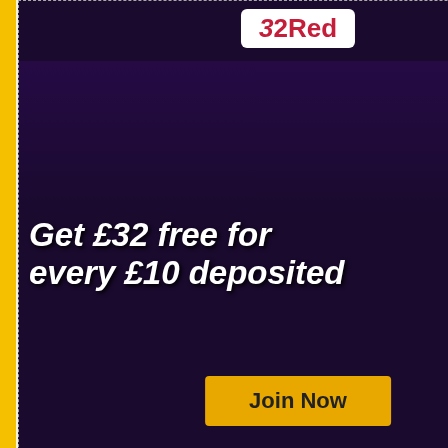[Figure (photo): 32Red casino advertisement: 'Get £32 free for every £10 deposited' with Join Now button]
Login or Register
Register
Log in
RSS
Comments RSS
XML Sitemap
Team Titan Player Sam Tric...
Team Titan Captain Sorel M...
Europe's Richest Online Po...
Titan Poker Sending in thei...
$50,000 Worth of Prizes to b...
New One Million Dollars Gu...
Tags for this post: euro poker, freer freeroll, poker gambling, poker priz...
1 Comment »
Trackback by gamblingnewsnetwo...
Something Cool for Every Pla...
No matter what your online pok... During the months of Decembe...
Rating: 0 (from 0 v...
RSS feed for comments on this post. Tra...
Leave a comment
You must be logged in to post a comme...
Previous and next news
« MEGA MOOLAH PROGRESSIVE JA...